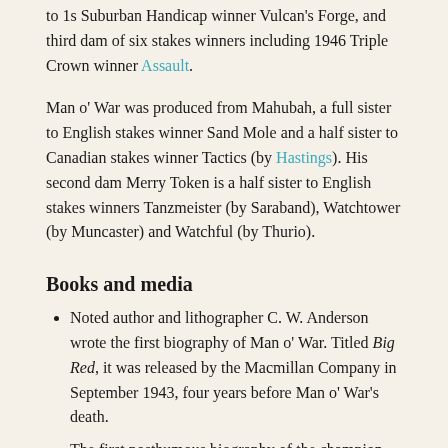to 1s Suburban Handicap winner Vulcan's Forge, and third dam of six stakes winners including 1946 Triple Crown winner Assault.
Man o' War was produced from Mahubah, a full sister to English stakes winner Sand Mole and a half sister to Canadian stakes winner Tactics (by Hastings). His second dam Merry Token is a half sister to English stakes winners Tanzmeister (by Saraband), Watchtower (by Muncaster) and Watchful (by Thurio).
Books and media
Noted author and lithographer C. W. Anderson wrote the first biography of Man o' War. Titled Big Red, it was released by the Macmillan Company in September 1943, four years before Man o' War's death.
The first posthumous biography of the champion was Man o' War, written by Page Cooper and Roger